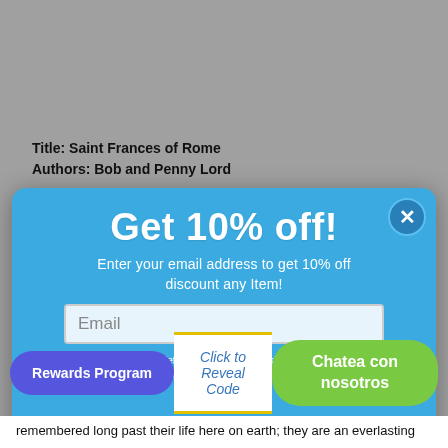Title: Saint Frances of Rome
Authors: Bob and Penny Lord
[Figure (screenshot): A modal popup overlay on a webpage with a blue background offering '10% off' discount. Contains a large heading 'Get 10% off!', subtitle text, an email input field, legal disclaimer, and bottom bar with Rewards Program button, Click to Reveal Code link, and Chatea con nosotros button.]
remembered long past their life here on earth; they are an everlasting